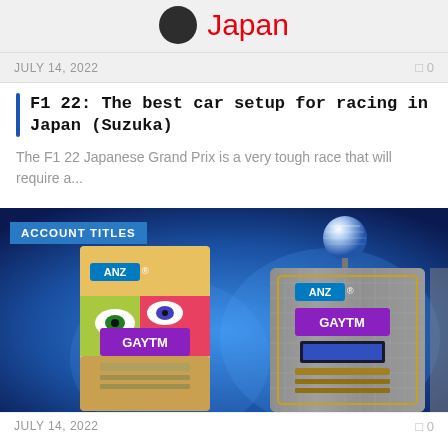[Figure (photo): Japan flag/logo icon with red Japan text on grey background]
JULY 14, 2022
0
F1 22: The best car setup for racing in Japan (Suzuka)
The F1 22 Japanese Grand Prix is a very tough race that will require a...
[Figure (photo): Two ANZ GAYTM ATM machines side by side, one with colorful pop-art design and one with metallic diamond plate design, on a blue background. An 'ACCOUNT TITLES' badge overlays the top-left.]
JULY 14, 2022
0